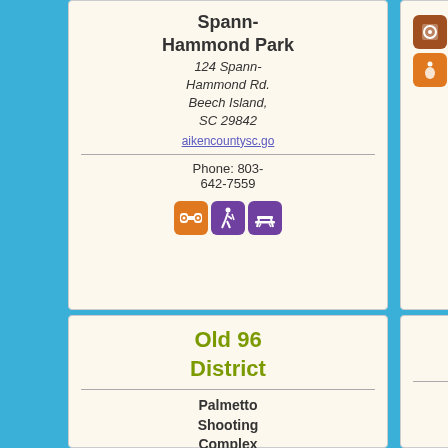Spann-Hammond Park
124 Spann-Hammond Rd. Beech Island, SC 29842
aikencountysc.go
Phone: 803-642-7559
[Figure (infographic): Activity icons for Spann-Hammond Park: binoculars, hiking, picnic table]
[Figure (infographic): Grid of activity icons for upper right card]
Old 96 District
Palmetto Shooting Complex
535 Gary Hill Rd. Edgefield, SC
Thoroughbred Country
Walnut Lane Neighborhood Park
St. Julian North Augusta, SC 29860
northaugusta.net
Phone: 803-441-4300
[Figure (infographic): Activity icons for Walnut Lane: binoculars, hiking, picnic table]